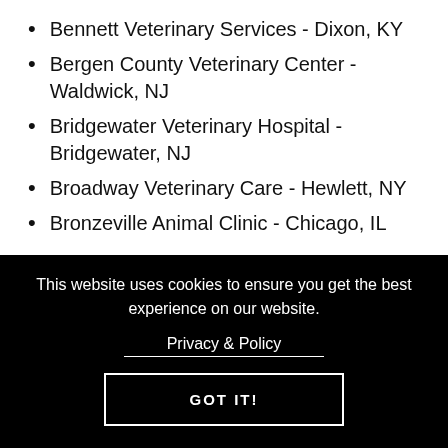Bennett Veterinary Services - Dixon, KY
Bergen County Veterinary Center  - Waldwick, NJ
Bridgewater Veterinary Hospital - Bridgewater, NJ
Broadway Veterinary Care - Hewlett, NY
Bronzeville Animal Clinic - Chicago, IL
This website uses cookies to ensure you get the best experience on our website.
Privacy & Policy
GOT IT!